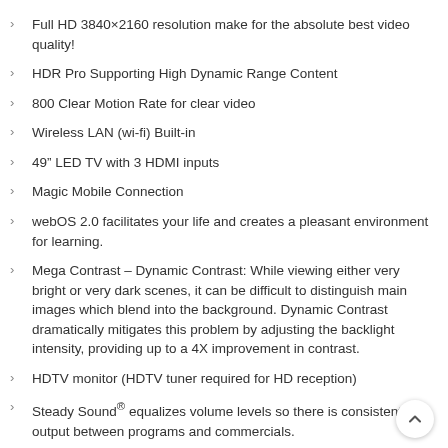Full HD 3840×2160 resolution make for the absolute best video quality!
HDR Pro Supporting High Dynamic Range Content
800 Clear Motion Rate for clear video
Wireless LAN (wi-fi) Built-in
49″ LED TV with 3 HDMI inputs
Magic Mobile Connection
webOS 2.0 facilitates your life and creates a pleasant environment for learning.
Mega Contrast – Dynamic Contrast: While viewing either very bright or very dark scenes, it can be difficult to distinguish main images which blend into the background. Dynamic Contrast dramatically mitigates this problem by adjusting the backlight intensity, providing up to a 4X improvement in contrast.
HDTV monitor (HDTV tuner required for HD reception)
Steady Sound® equalizes volume levels so there is consistent output between programs and commercials.
Built-in hidden speakers includes 2 (20W x 2) speakers to deliver